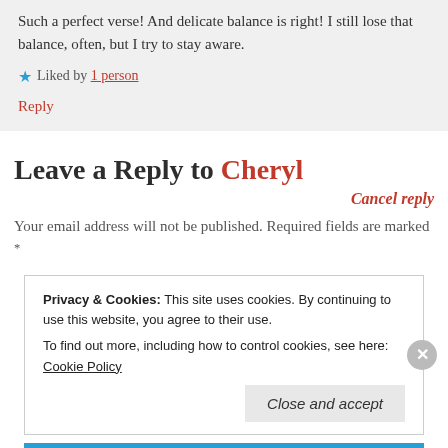Such a perfect verse! And delicate balance is right! I still lose that balance, often, but I try to stay aware.
★ Liked by 1 person
Reply
Leave a Reply to Cheryl
Cancel reply
Your email address will not be published. Required fields are marked *
Privacy & Cookies: This site uses cookies. By continuing to use this website, you agree to their use. To find out more, including how to control cookies, see here: Cookie Policy
Close and accept